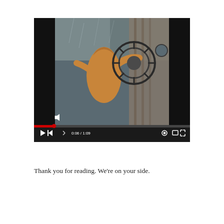[Figure (screenshot): A YouTube video player screenshot showing a person in an orange hoodie holding onto what appears to be a large wheel or tire in stormy/rainy conditions. The video controls show a red progress bar at 0:06 of 1:09 total duration. Controls include play button, skip, volume, timestamp '0:06 / 1:09', settings gear icon, rectangle icon, and fullscreen icon.]
Thank you for reading. We're on your side.